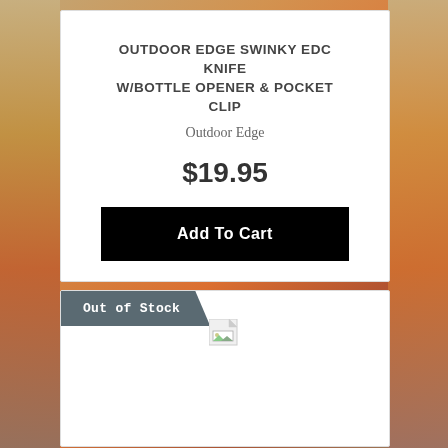OUTDOOR EDGE SWINKY EDC KNIFE W/BOTTLE OPENER & POCKET CLIP
Outdoor Edge
$19.95
Add To Cart
Out of Stock
[Figure (other): Broken/missing product image placeholder icon]